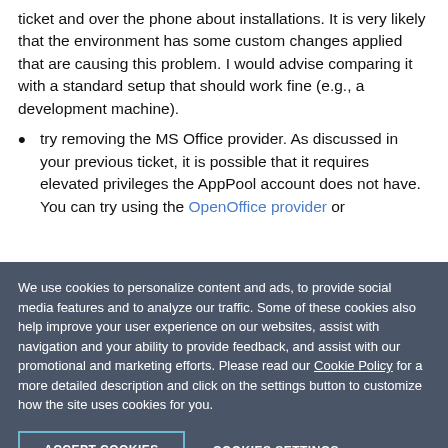ticket and over the phone about installations. It is very likely that the environment has some custom changes applied that are causing this problem. I would advise comparing it with a standard setup that should work fine (e.g., a development machine).
try removing the MS Office provider. As discussed in your previous ticket, it is possible that it requires elevated privileges the AppPool account does not have. You can try using the OpenOffice provider or
We use cookies to personalize content and ads, to provide social media features and to analyze our traffic. Some of these cookies also help improve your user experience on our websites, assist with navigation and your ability to provide feedback, and assist with our promotional and marketing efforts. Please read our Cookie Policy for a more detailed description and click on the settings button to customize how the site uses cookies for you.
ACCEPT COOKIES
COOKIES SETTINGS